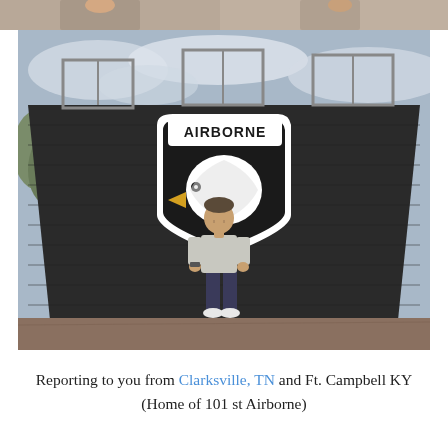[Figure (photo): Partial photo at top of page, cropped, showing people in background.]
[Figure (photo): A man standing in front of a large dark wooden wall painted with the 101st Airborne Division insignia — a shield with an eagle head and the word AIRBORNE. Metal railing structures are visible at the top of the wall. The man is wearing a light grey shirt and dark jeans.]
Reporting to you from Clarksville, TN and Ft. Campbell KY (Home of 101 st Airborne)